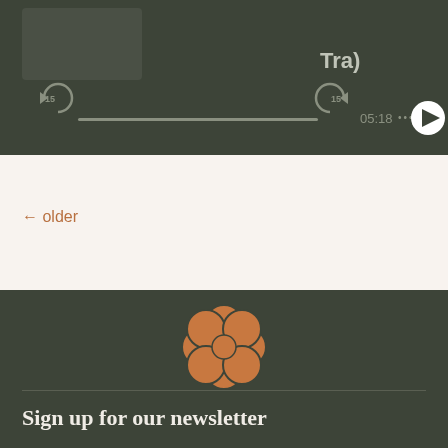[Figure (screenshot): Audio player interface with dark green background showing playback controls: rewind 15s button, progress bar, forward 15s button, time display '05:18', ellipsis menu, and circular play button. Track label 'Tra' visible.]
← older
[Figure (logo): Decorative flower/mandala logo made of overlapping circles in burnt orange/copper color on dark green background, forming a rosette pattern.]
Sign up for our newsletter